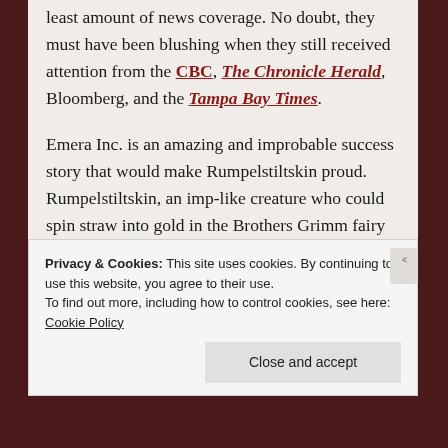least amount of news coverage. No doubt, they must have been blushing when they still received attention from the CBC, The Chronicle Herald, Bloomberg, and the Tampa Bay Times.
Emera Inc. is an amazing and improbable success story that would make Rumpelstiltskin proud. Rumpelstiltskin, an imp-like creature who could spin straw into gold in the Brothers Grimm fairy tale, would admire Huskilson, the genius who orchestrated the latter stages of Nova Scotia Power's transition from a money-losing Crown corporation that amassed $4 billion in debt to
Privacy & Cookies: This site uses cookies. By continuing to use this website, you agree to their use.
To find out more, including how to control cookies, see here: Cookie Policy
[Close and accept]